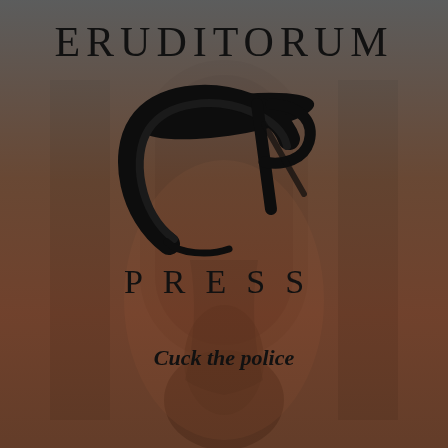[Figure (logo): Eruditorum Press logo page with stylized EP monogram, artwork background of figures in an archway, dark reddish-brown atmospheric overlay]
ERUDITORUM
[Figure (logo): Stylized EP calligraphic monogram logo in black]
PRESS
Cuck the police